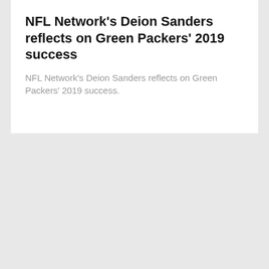NFL Network's Deion Sanders reflects on Green Packers' 2019 success
NFL Network's Deion Sanders reflects on Green Packers' 2019 success.